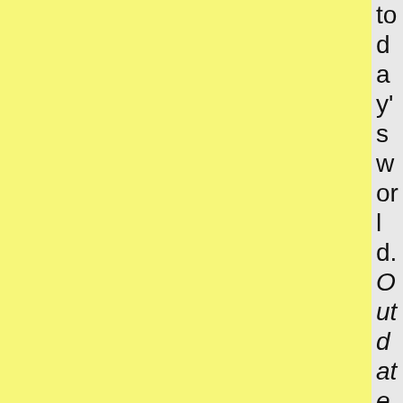today's world. Outdated. The word kept creeping back into his head, like an itch he